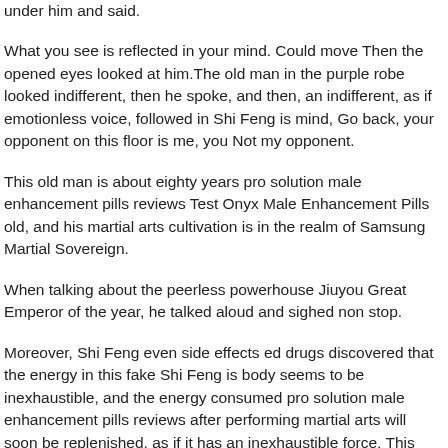under him and said.
What you see is reflected in your mind. Could move Then the opened eyes looked at him.The old man in the purple robe looked indifferent, then he spoke, and then, an indifferent, as if emotionless voice, followed in Shi Feng is mind, Go back, your opponent on this floor is me, you Not my opponent.
This old man is about eighty years pro solution male enhancement pills reviews Test Onyx Male Enhancement Pills old, and his martial arts cultivation is in the realm of Samsung Martial Sovereign.
When talking about the peerless powerhouse Jiuyou Great Emperor of the year, he talked aloud and sighed non stop.
Moreover, Shi Feng even side effects ed drugs discovered that the energy in this fake Shi Feng is body seems to be inexhaustible, and the energy consumed pro solution male enhancement pills reviews after performing martial arts will soon be replenished, as if it has an inexhaustible force. This Hmm, thought Shi Feng is heart was shaken all